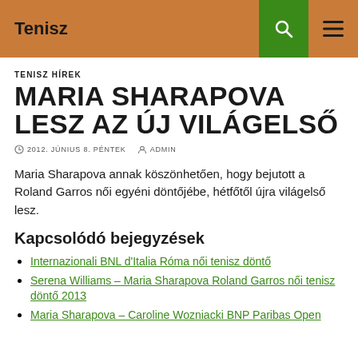Tenisz
TENISZ HÍREK
MARIA SHARAPOVA LESZ AZ ÚJ VILÁGELSŐ
2012. JÚNIUS 8. PÉNTEK   ADMIN
Maria Sharapova annak köszönhetően, hogy bejutott a Roland Garros női egyéni döntőjébe, hétfőtől újra világelső lesz.
Kapcsolódó bejegyzések
Internazionali BNL d'Italia Róma női tenisz döntő
Serena Williams – Maria Sharapova Roland Garros női tenisz döntő 2013
Maria Sharapova – Caroline Wozniacki BNP Paribas Open